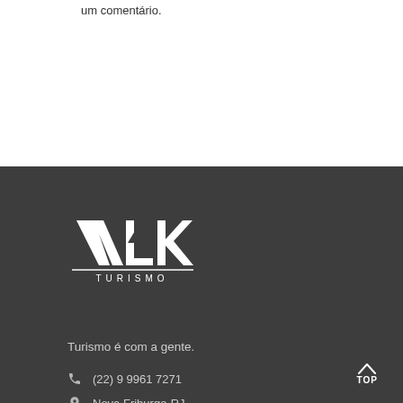um comentário.
[Figure (logo): VLK Turismo logo — white letters VLK with a diagonal slash through the L, and TURISMO written below in spaced capitals, on a dark background]
Turismo é com a gente.
(22) 9 9961 7271
Nova Friburgo-RJ
contato@vlkturismo.com.br
TOP